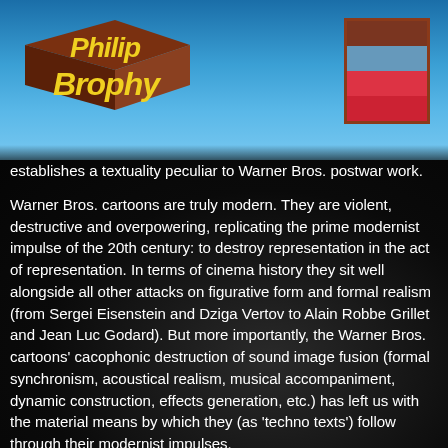[Figure (logo): Philip Brophy logo in yellow stylized text on a brown 3D parallelogram/diamond shape, with blue background header area]
[Figure (other): Color swatch block with four horizontal stripes: dark brown, steel blue, bright red, dark red. Bordered with dark brown frame.]
establishes a textuality peculiar to Warner Bros. postwar work.
Warner Bros. cartoons are truly modern. They are violent, destructive and overpowering, replicating the prime modernist impulse of the 20th century: to destroy representation in the act of representation. In terms of cinema history they sit well alongside all other attacks on figurative form and formal realism (from Sergei Eisenstein and Dziga Vertov to Alain Robbe Grillet and Jean Luc Godard). But more importantly, the Warner Bros. cartoons' cacophonic destruction of sound image fusion (formal synchronism, acoustical realism, musical accompaniment, dynamic construction, effects generation, etc.) has left us with the material means by which they (as 'techno texts') follow through their modernist impulses.
Such is the legacy of the processes of animation and the animatic